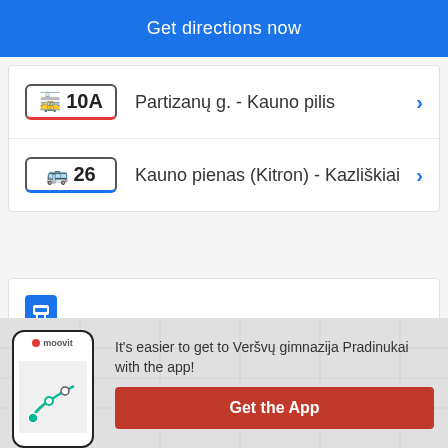Get directions now
10A – Partizanų g. - Kauno pilis
26 – Kauno pienas (Kitron) - Kazliškiai
Laisvės Alėja
7 min walk
[Figure (screenshot): Moovit app phone mockup with route map]
It's easier to get to Veršvų gimnazija Pradinukai with the app!
Get the App